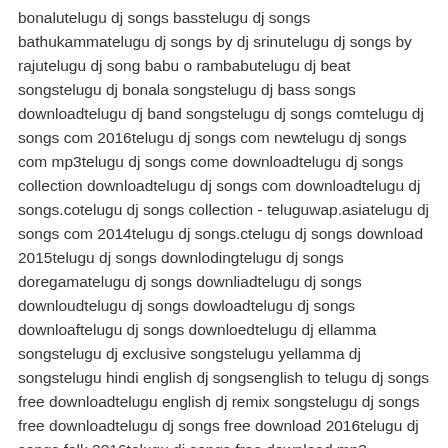bonalutelugu dj songs basstelugu dj songs bathukammatelugu dj songs by dj srinutelugu dj songs by rajutelugu dj song babu o rambabutelugu dj beat songstelugu dj bonala songstelugu dj bass songs downloadtelugu dj band songstelugu dj songs comtelugu dj songs com 2016telugu dj songs com newtelugu dj songs com mp3telugu dj songs come downloadtelugu dj songs collection downloadtelugu dj songs com downloadtelugu dj songs.cotelugu dj songs collection - teluguwap.asiatelugu dj songs com 2014telugu dj songs.ctelugu dj songs download 2015telugu dj songs downlodingtelugu dj songs doregamatelugu dj songs downliadtelugu dj songs downloudtelugu dj songs dowloadtelugu dj songs downloaftelugu dj songs downloedtelugu dj ellamma songstelugu dj exclusive songstelugu yellamma dj songstelugu hindi english dj songsenglish to telugu dj songs free downloadtelugu english dj remix songstelugu dj songs free downloadtelugu dj songs free download 2016telugu dj songs folk 2016telugu dj songs free download mp3 2016telugu dj songs free downlodingtelugu dj songs free download naa songstelugu dj songs free download mp3 2015telugu dj songs full basstelugu dj songs gunna gunna